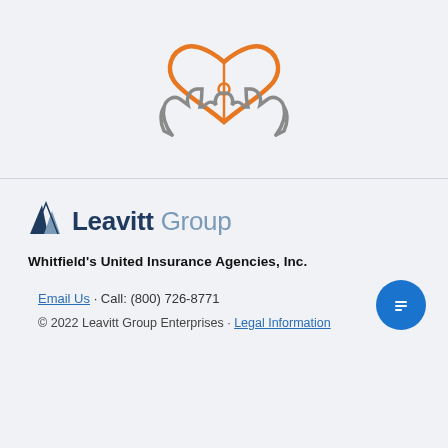[Figure (illustration): Two hands holding a heart-shaped puzzle piece icon in orange and gray outline style]
[Figure (logo): Leavitt Group logo with geometric chevron/mountain icon in dark blue and gray, text reads Leavitt in dark blue bold and Group in gray light weight]
Whitfield's United Insurance Agencies, Inc.
Email Us · Call: (800) 726-8771
© 2022 Leavitt Group Enterprises · Legal Information